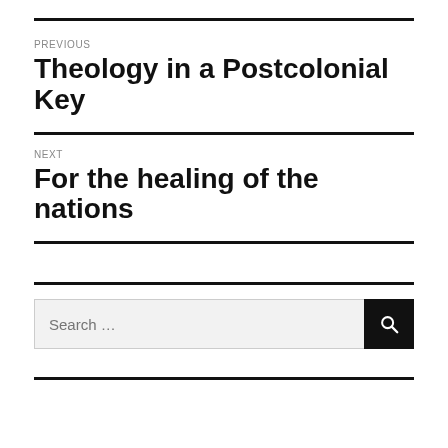PREVIOUS
Theology in a Postcolonial Key
NEXT
For the healing of the nations
Search …